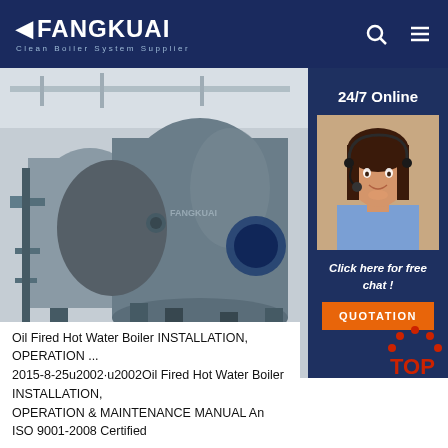FANGKUAI - Clean Boiler System Supplier
[Figure (photo): Industrial oil-fired hot water boiler unit in a factory setting, large cylindrical steel vessel with pipes and supports. Right side panel shows '24/7 Online' customer service agent photo and 'Click here for free chat!' text with orange QUOTATION button on dark blue background.]
[Figure (logo): TOP badge with red dots forming an arc above red TOP text]
Oil Fired Hot Water Boiler INSTALLATION, OPERATION ... 2015-8-25u2002·u2002Oil Fired Hot Water Boiler INSTALLATION, OPERATION & MAINTENANCE MANUAL An ISO 9001-2008 Certified